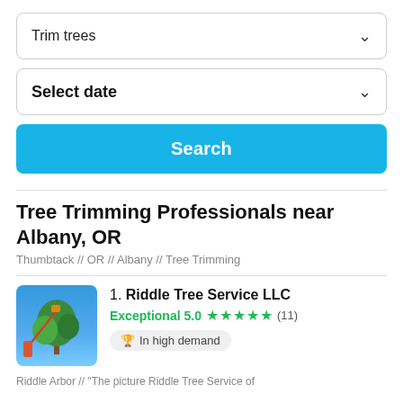Trim trees
Select date
Search
Tree Trimming Professionals near Albany, OR
Thumbtack // OR // Albany // Tree Trimming
1. Riddle Tree Service LLC
Exceptional 5.0 ★★★★★ (11)
In high demand
[Figure (photo): Photo of a tree trimming service worker operating a crane or lift near a tall tree against a blue sky, with green foliage visible.]